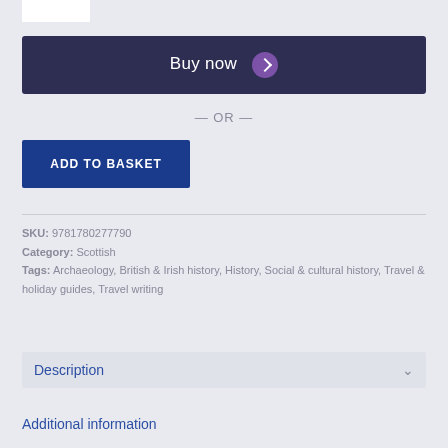[Figure (other): Partial white image/book cover at top left corner]
Buy now
— OR —
ADD TO BASKET
SKU: 9781780277790
Category: Scottish
Tags: Archaeology, British & Irish history, History, Social & cultural history, Travel & holiday guides, Travel writing
Description
Additional information